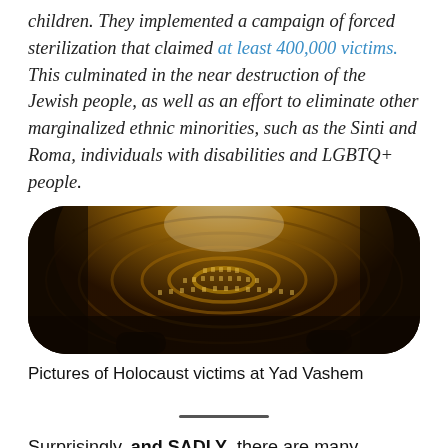children. They implemented a campaign of forced sterilization that claimed at least 400,000 victims. This culminated in the near destruction of the Jewish people, as well as an effort to eliminate other marginalized ethnic minorities, such as the Sinti and Roma, individuals with disabilities and LGBTQ+ people.
[Figure (photo): Interior photograph of the Hall of Names at Yad Vashem, showing thousands of photographs of Holocaust victims arranged in a curved dome ceiling, illuminated in warm amber/golden light.]
Pictures of Holocaust victims at Yad Vashem
Surprisingly, and SADLY, there are many prominent people, besides Hitler, who jumped on the band-wagon of